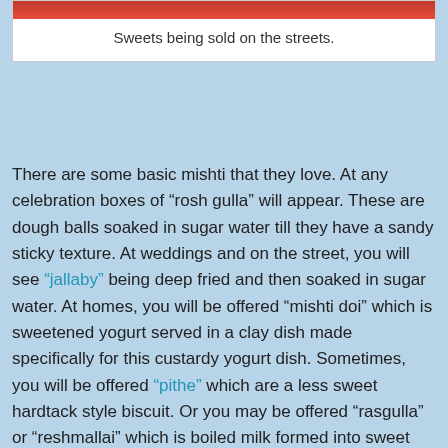[Figure (photo): Top portion of a photo showing sweets being sold on the streets, with red coloring visible at the top]
Sweets being sold on the streets.
There are some basic mishti that they love. At any celebration boxes of “rosh gulla” will appear. These are dough balls soaked in sugar water till they have a sandy sticky texture. At weddings and on the street, you will see “jallaby” being deep fried and then soaked in sugar water. At homes, you will be offered “mishti doi” which is sweetened yogurt served in a clay dish made specifically for this custardy yogurt dish. Sometimes, you will be offered “pithe” which are a less sweet hardtack style biscuit. Or you may be offered “rasgulla” or “reshmallai” which is boiled milk formed into sweet balls. The ones in Bangladesh are the size of marbles and the ones in India are the size of golf balls.